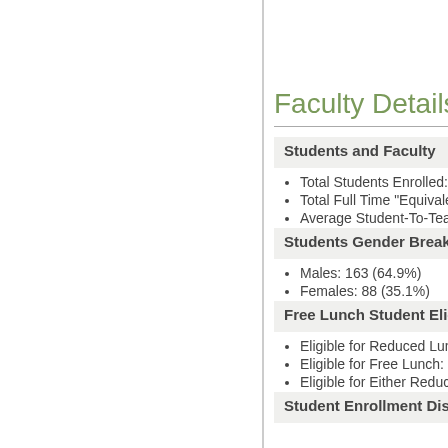Faculty Details and
Students and Faculty
Total Students Enrolled:
Total Full Time "Equivale
Average Student-To-Teac
Students Gender Breakdow
Males: 163 (64.9%)
Females: 88 (35.1%)
Free Lunch Student Eligibili
Eligible for Reduced Lun
Eligible for Free Lunch: 1
Eligible for Either Reduce
Student Enrollment Distribu